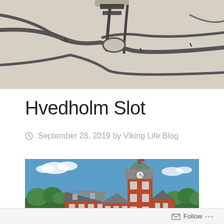[Figure (map): Partial street map with beige/tan background showing roads and intersections in black lines]
Hvedholm Slot
September 28, 2019 by Viking Life Blog
[Figure (photo): Photo of Hvedholm Slot, a red brick Danish castle/manor house with a tall clock tower under a clear blue sky, surrounded by green trees]
Follow